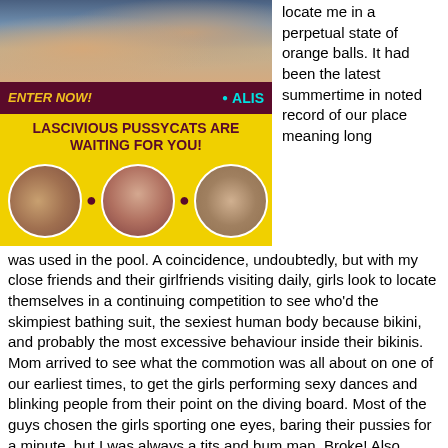[Figure (photo): Advertisement banner with photo of person at top, dark red bar with 'ENTER NOW!' and 'ALIS', yellow banner reading 'LASCIVIOUS PUSSYCATS ARE WAITING FOR YOU!', three circular cropped images on yellow background]
locate me in a perpetual state of orange balls. It had been the latest summertime in noted record of our place meaning long was used in the pool. A coincidence, undoubtedly, but with my close friends and their girlfriends visiting daily, girls look to locate themselves in a continuing competition to see who'd the skimpiest bathing suit, the sexiest human body because bikini, and probably the most excessive behaviour inside their bikinis. Mom arrived to see what the commotion was all about on one of our earliest times, to get the girls performing sexy dances and blinking people from their point on the diving board. Most of the guys chosen the girls sporting one eyes, baring their pussies for a minute, but I was always a tits and bum man. Broke! Also carrying a swimsuit, Mother stood at the far end of the pool seeing the goings on. The group recognized her nearly immediately and